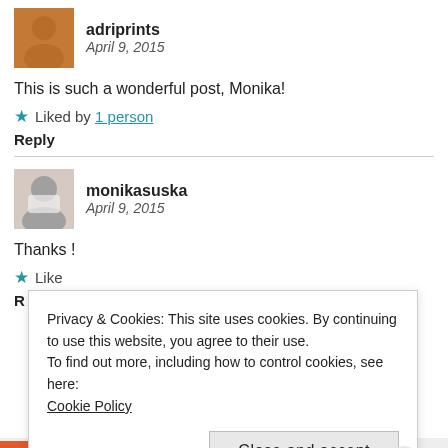adriprints
April 9, 2015
This is such a wonderful post, Monika!
Liked by 1 person
Reply
monikasuska
April 9, 2015
Thanks !
Like
R
Privacy & Cookies: This site uses cookies. By continuing to use this website, you agree to their use.
To find out more, including how to control cookies, see here: Cookie Policy
Close and accept